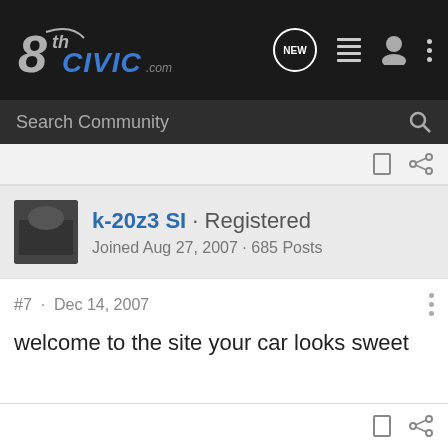8thCivic.com - navigation bar with NEW, list, user, and more icons
Search Community
k-20z3 SI · Registered
Joined Aug 27, 2007 · 685 Posts
#7 · Dec 14, 2007
welcome to the site your car looks sweet